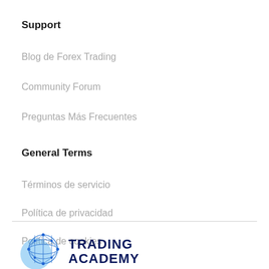Support
Blog de Forex Trading
Community Forum
Preguntas Más Frecuentes
General Terms
Términos de servicio
Política de privacidad
Política de cookies
[Figure (logo): Trading Academy logo with globe network icon in blue and dark navy brand text reading TRADING ACADEMY]